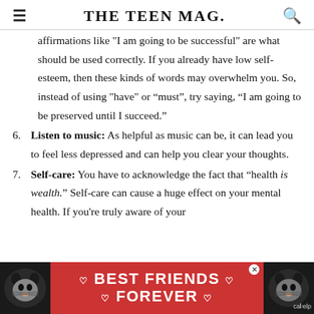THE TEEN MAG.
affirmations like "I am going to be successful" are what should be used correctly. If you already have low self-esteem, then these kinds of words may overwhelm you. So, instead of using "have" or “must”, try saying, “I am going to be preserved until I succeed.”
6. Listen to music: As helpful as music can be, it can lead you to feel less depressed and can help you clear your thoughts.
7. Self-care: You have to acknowledge the fact that “health is wealth.” Self-care can cause a huge effect on your mental health. If you're truly aware of your
[Figure (infographic): Advertisement banner showing two cats with text BEST FRIENDS FOREVER on a red background]